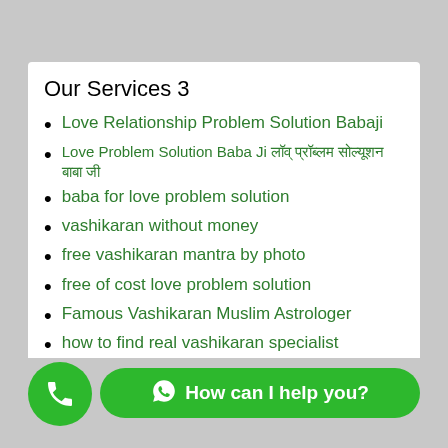Our Services 3
Love Relationship Problem Solution Babaji
Love Problem Solution Baba Ji प्रेम समस्या समाधान बाबा जी
baba for love problem solution
vashikaran without money
free vashikaran mantra by photo
free of cost love problem solution
Famous Vashikaran Muslim Astrologer
how to find real vashikaran specialist
get your love back by muslim astrology
gold medalist vashikaran specialist
vashikaran specialist
love problem solution White magic expert